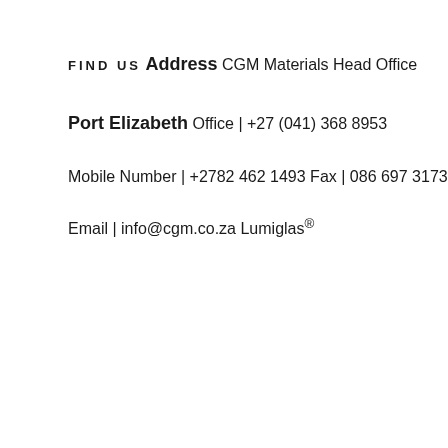FIND US
Address
CGM Materials Head Office
Port Elizabeth
Office | +27 (041) 368 8953
Mobile Number | +2782 462 1493
Fax | 086 697 3173
Email | info@cgm.co.za
Lumiglas®